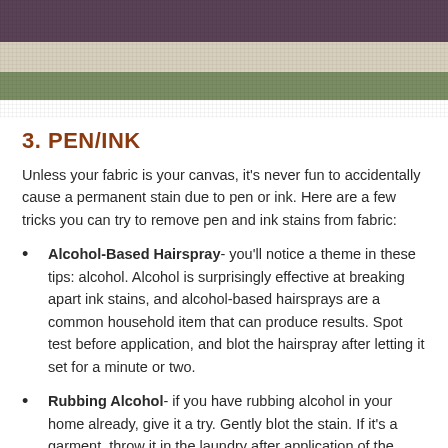[Figure (photo): Horizontal fabric stripes in purple, cream, and olive green colors showing textile texture]
3. PEN/INK
Unless your fabric is your canvas, it's never fun to accidentally cause a permanent stain due to pen or ink. Here are a few tricks you can try to remove pen and ink stains from fabric:
Alcohol-Based Hairspray- you'll notice a theme in these tips: alcohol. Alcohol is surprisingly effective at breaking apart ink stains, and alcohol-based hairsprays are a common household item that can produce results. Spot test before application, and blot the hairspray after letting it set for a minute or two.
Rubbing Alcohol- if you have rubbing alcohol in your home already, give it a try. Gently blot the stain. If it's a garment, throw it in the laundry after application of the